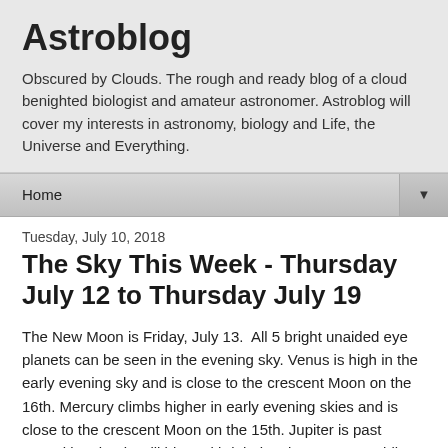Astroblog
Obscured by Clouds. The rough and ready blog of a cloud benighted biologist and amateur astronomer. Astroblog will cover my interests in astronomy, biology and Life, the Universe and Everything.
Home ▼
Tuesday, July 10, 2018
The Sky This Week - Thursday July 12 to Thursday July 19
The New Moon is Friday, July 13.  All 5 bright unaided eye planets can be seen in the evening sky. Venus is high in the early evening sky and is close to the crescent Moon on the 16th. Mercury climbs higher in early evening skies and is close to the crescent Moon on the 15th. Jupiter is past opposition, but is still big and bright in telescopes. Rapidly